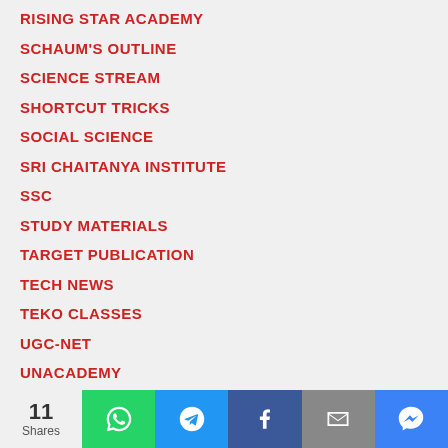RISING STAR ACADEMY
SCHAUM'S OUTLINE
SCIENCE STREAM
SHORTCUT TRICKS
SOCIAL SCIENCE
SRI CHAITANYA INSTITUTE
SSC
STUDY MATERIALS
TARGET PUBLICATION
TECH NEWS
TEKO CLASSES
UGC-NET
UNACADEMY
11 Shares  [WhatsApp] [Telegram] [Facebook] [Email] [Messenger]